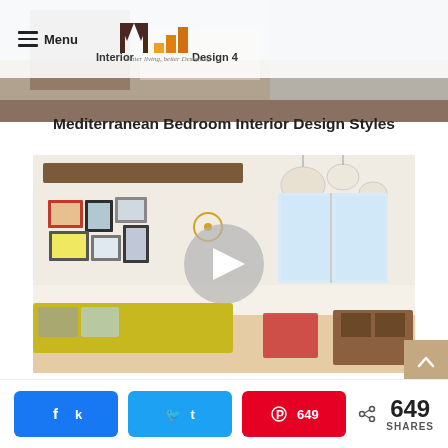Menu | Interior Design 4 — better living, better Designing
[Figure (photo): Mediterranean bedroom interior photo showing bed with pillows and warm lighting]
Mediterranean Bedroom Interior Design Styles
[Figure (photo): Living room with white walls, globe pendant lights, wood beam ceiling, gallery wall with framed art, yellow sofa, and a play button overlay in center]
Living Room Design Tips and Tricks
649 SHARES — Facebook share, Twitter share, Pinterest 649 share